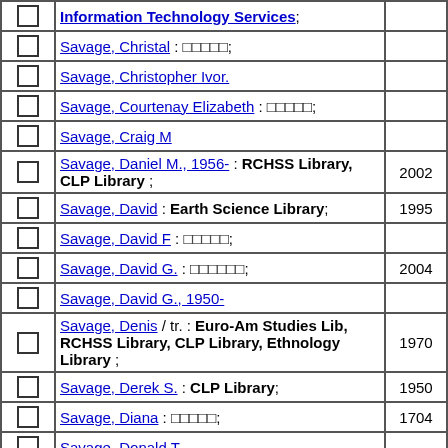|  | Name / Library | Year | Count |
| --- | --- | --- | --- |
| ☐ | Information Technology Services; |  |  |
| ☐ | Savage, Christal : □□□□□; |  | 1 |
| ☐ | Savage, Christopher Ivor. |  | 3 |
| ☐ | Savage, Courtenay Elizabeth : □□□□□; |  | 1 |
| ☐ | Savage, Craig M |  | 2 |
| ☐ | Savage, Daniel M., 1956- : RCHSS Library, CLP Library ; | 2002 | 1 |
| ☐ | Savage, David : Earth Science Library; | 1995 | 1 |
| ☐ | Savage, David F : □□□□□; |  | 1 |
| ☐ | Savage, David G. : □□□□□□; | 2004 | 1 |
| ☐ | Savage, David G., 1950- |  | 5 |
| ☐ | Savage, Denis / tr. : Euro-Am Studies Lib, RCHSS Library, CLP Library, Ethnology Library ; | 1970 | 1 |
| ☐ | Savage, Derek S. : CLP Library; | 1950 | 1 |
| ☐ | Savage, Diana : □□□□□; | 1704 | 1 |
| ☐ | Savage, Donald T |  | 3 |
| ☐ | Savage, Edward, 1745-1833 : □□□□□; | 1806 | 1 |
| ☐ | Savage, Edward, 1761-1817, |  | 6 |
| ☐ | Savage, Edward P... | 2004 |  |